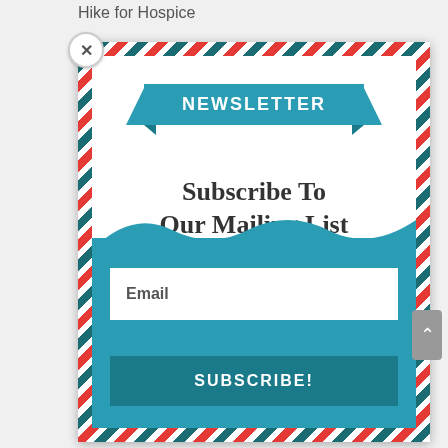Hike for Hospice
[Figure (screenshot): Newsletter popup modal with dashed red/teal border, ribbon banner saying NEWSLETTER, subscribe form with email input and subscribe button]
Subscribe To Our Mailing List
Join our mailing list to receive news and events.
Email
SUBSCRIBE!